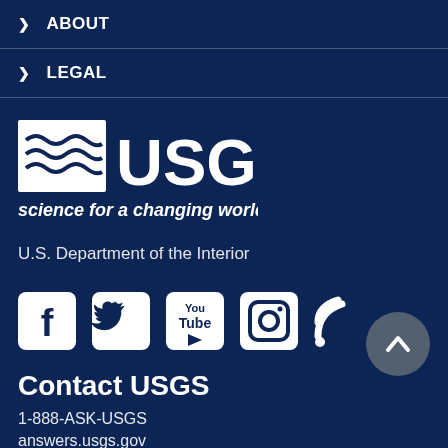ABOUT
LEGAL
[Figure (logo): USGS logo with wave symbol and text 'science for a changing world']
U.S. Department of the Interior
[Figure (infographic): Social media icons: Facebook, Twitter, YouTube, Instagram, RSS feed]
Contact USGS
1-888-ASK-USGS
answers.usgs.gov